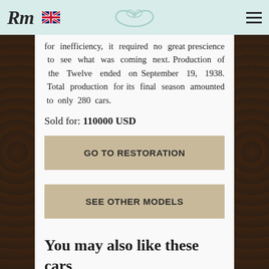RM (logo) | UK Flag | Hamburger menu
for inefficiency, it required no great prescience to see what was coming next. Production of the Twelve ended on September 19, 1938. Total production for its final season amounted to only 280 cars.
Sold for: 110000 USD
GO TO RESTORATION
SEE OTHER MODELS
You may also like these cars